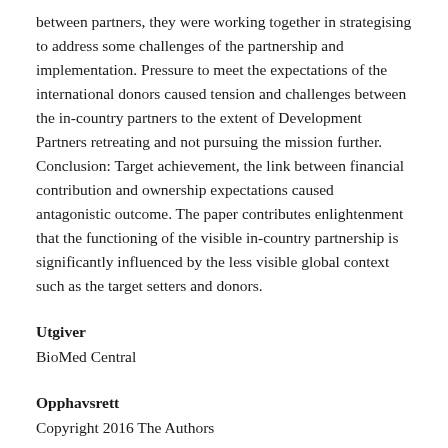between partners, they were working together in strategising to address some challenges of the partnership and implementation. Pressure to meet the expectations of the international donors caused tension and challenges between the in-country partners to the extent of Development Partners retreating and not pursuing the mission further. Conclusion: Target achievement, the link between financial contribution and ownership expectations caused antagonistic outcome. The paper contributes enlightenment that the functioning of the visible in-country partnership is significantly influenced by the less visible global context such as the target setters and donors.
Utgiver
BioMed Central
Opphavsrett
Copyright 2016 The Authors